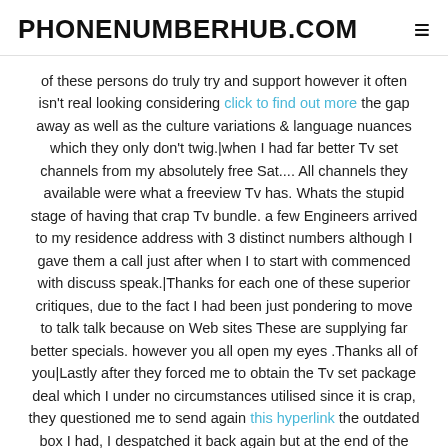PHONENUMBERHUB.COM
of these persons do truly try and support however it often isn't real looking considering click to find out more the gap away as well as the culture variations & language nuances which they only don't twig.|when I had far better Tv set channels from my absolutely free Sat.... All channels they available were what a freeview Tv has. Whats the stupid stage of having that crap Tv bundle. a few Engineers arrived to my residence address with 3 distinct numbers although I gave them a call just after when I to start with commenced with discuss speak.|Thanks for each one of these superior critiques, due to the fact I had been just pondering to move to talk talk because on Web sites These are supplying far better specials. however you all open my eyes .Thanks all of you|Lastly after they forced me to obtain the Tv set package deal which I under no circumstances utilised since it is crap, they questioned me to send again this hyperlink the outdated box I had, I despatched it back again but at the end of the month they charged me £seventy five for not returning the box, although I did. They then explained to me that when It can be received they're going to refund my revenue which they never did.|fully concur, my line went down, I known as them, an engineer came out. My regular Monthly bill arrived using a £65 cost for an engineer,